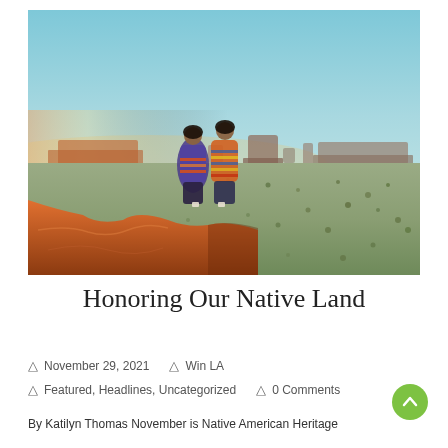[Figure (photo): Two Native American women in colorful traditional blankets/shawls standing on a red rock cliff edge overlooking a vast desert landscape with mesa buttes in the background under a clear blue sky (Monument Valley / Southwest USA setting)]
Honoring Our Native Land
November 29, 2021   Win LA   Featured, Headlines, Uncategorized   0 Comments
By Katilyn Thomas November is Native American Heritage